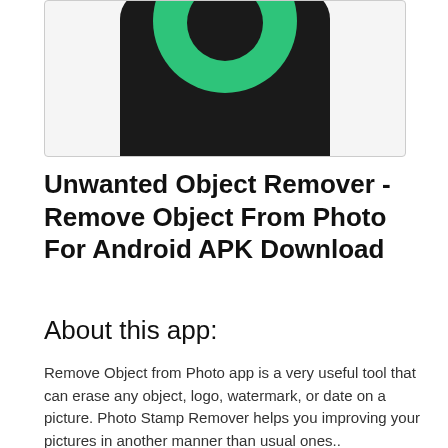[Figure (screenshot): App icon screenshot showing a dark/black rounded square background with a green circular shape at the top center, partially visible — appears to be the Unwanted Object Remover app icon.]
Unwanted Object Remover - Remove Object From Photo For Android APK Download
About this app:
Remove Object from Photo app is a very useful tool that can erase any object, logo, watermark, or date on a picture. Photo Stamp Remover helps you improving your pictures in another manner than usual ones.. Removing Objects from Your Photos using the Magical tools of touch-retouch eraser like,object remover tool and clone stamp tool that is integrated What are...